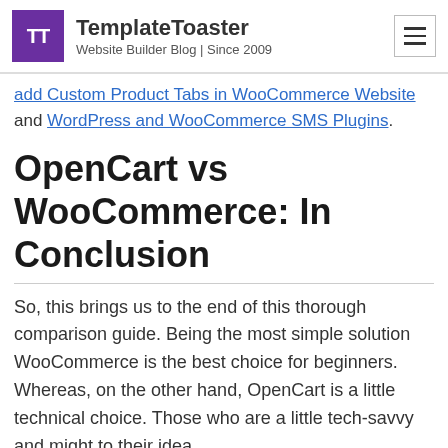TemplateToaster — Website Builder Blog | Since 2009
add Custom Product Tabs in WooCommerce Website and WordPress and WooCommerce SMS Plugins.
OpenCart vs WooCommerce: In Conclusion
So, this brings us to the end of this thorough comparison guide. Being the most simple solution WooCommerce is the best choice for beginners. Whereas, on the other hand, OpenCart is a little technical choice. Those who are a little tech-savvy and might to their idea…